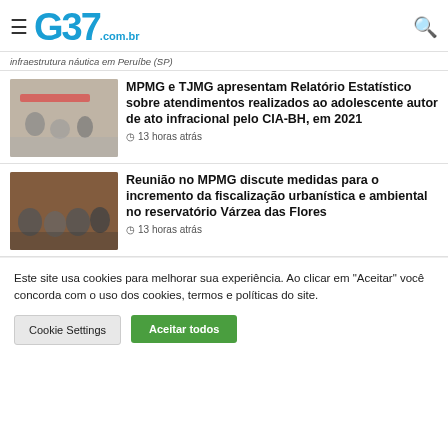G37.com.br
... infraestrutura náutica em Peruíbe (SP)
MPMG e TJMG apresentam Relatório Estatístico sobre atendimentos realizados ao adolescente autor de ato infracional pelo CIA-BH, em 2021
13 horas atrás
Reunião no MPMG discute medidas para o incremento da fiscalização urbanística e ambiental no reservatório Várzea das Flores
13 horas atrás
Este site usa cookies para melhorar sua experiência. Ao clicar em "Aceitar" você concorda com o uso dos cookies, termos e políticas do site.
Cookie Settings
Aceitar todos